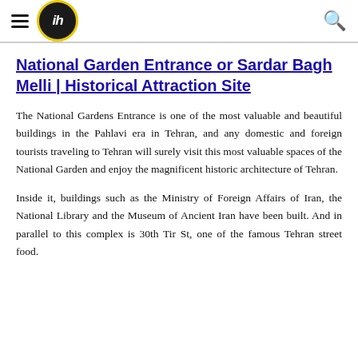ih (logo) [hamburger menu] [search icon]
National Garden Entrance or Sardar Bagh Melli | Historical Attraction Site
The National Gardens Entrance is one of the most valuable and beautiful buildings in the Pahlavi era in Tehran, and any domestic and foreign tourists traveling to Tehran will surely visit this most valuable spaces of the National Garden and enjoy the magnificent historic architecture of Tehran.
Inside it, buildings such as the Ministry of Foreign Affairs of Iran, the National Library and the Museum of Ancient Iran have been built. And in parallel to this complex is 30th Tir St, one of the famous Tehran street food.